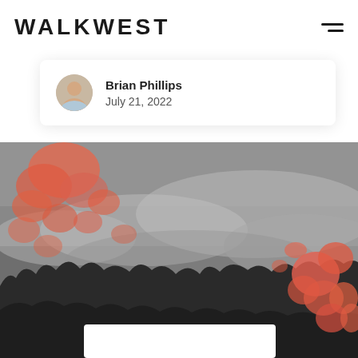WALKWEST
Brian Phillips
July 21, 2022
[Figure (photo): A dramatic landscape photo showing misty forested mountains with salmon/coral pink wildfire flame highlights overlaid on a grayscale background. Trees and smoke are visible throughout the scene. A white card overlay is partially visible at the bottom of the image.]